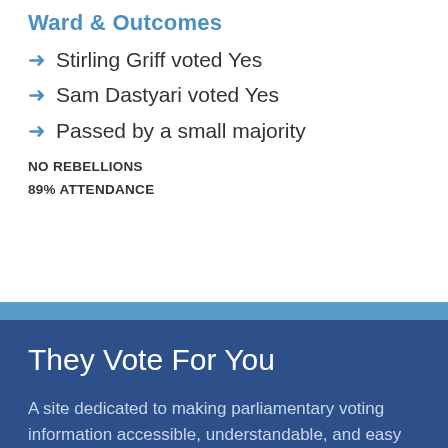Ward & Outcomes
Stirling Griff voted Yes
Sam Dastyari voted Yes
Passed by a small majority
NO REBELLIONS
89% ATTENDANCE
They Vote For You
A site dedicated to making parliamentary voting information accessible, understandable, and easy to use so that you can hold your elected representatives to account.